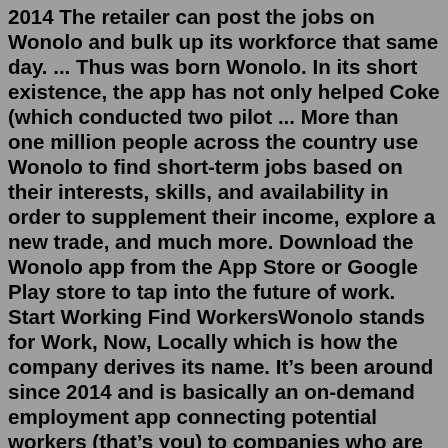2014 The retailer can post the jobs on Wonolo and bulk up its workforce that same day. ... Thus was born Wonolo. In its short existence, the app has not only helped Coke (which conducted two pilot ... More than one million people across the country use Wonolo to find short-term jobs based on their interests, skills, and availability in order to supplement their income, explore a new trade, and much more. Download the Wonolo app from the App Store or Google Play store to tap into the future of work. Start Working Find WorkersWonolo stands for Work, Now, Locally which is how the company derives its name. It’s been around since 2014 and is basically an on-demand employment app connecting potential workers (that’s you) to companies who are hiring. The jobs offered are all contract-basis and deals with general tasking such as; Warehouse operation; Deliveries Never heard of wonolo and I work in this industry. If you're looking for warehouse type jobs you might want to check JobGet which is an app specifically for hourly wage jobs in warehouse,